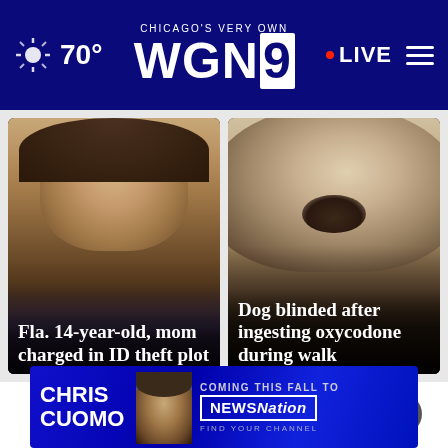Chicago's Very Own WGN9 — 70° — LIVE
[Figure (photo): Mugshot of a woman with headline: Fla. 14-year-old, mom charged in ID theft plot]
[Figure (photo): Close-up photo of a fluffy dog with headline: Dog blinded after ingesting oxycodone during walk]
Top Stories >
[Figure (photo): Advertisement banner: Chris Cuomo — Coming This Fall to NewsNation — Find Your Channel]